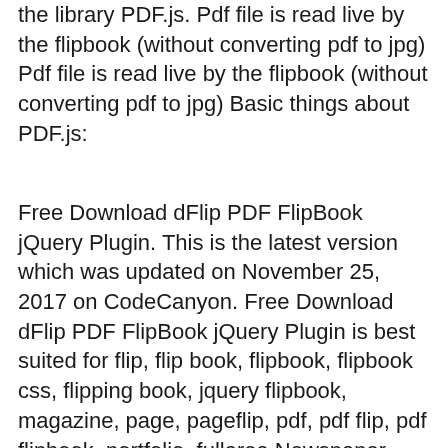the library PDF.js. Pdf file is read live by the flipbook (without converting pdf to jpg) Pdf file is read live by the flipbook (without converting pdf to jpg) Basic things about PDF.js:
Free Download dFlip PDF FlipBook jQuery Plugin. This is the latest version which was updated on November 25, 2017 on CodeCanyon. Free Download dFlip PDF FlipBook jQuery Plugin is best suited for flip, flip book, flipbook, flipbook css, flipping book, jquery flipbook, magazine, page, pageflip, pdf, pdf flip, pdf flipbook, portfolio. fullarea Newspaper FlipBook -jQuery - page-flip.info < Back